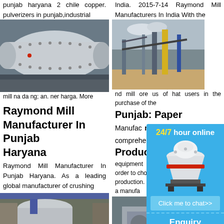punjab haryana 2 chile copper. pulverizers in punjab,industrial
[Figure (photo): Industrial ball mill machine, large cylindrical metal drum]
mill na da ng; an. ner harga. More
Raymond Mill Manufacturer In Punjab Haryana
Raymond Mill Manufacturer In Punjab Haryana. As a leading global manufacturer of crushing
[Figure (photo): Industrial mill machinery interior with orange components]
ing ent tc. nal on requirements, including quarry,
raymond mill manufacturer in punjab
aggregate, grinding production and complete plant plan.
raymond mill manufacturers in
India. 2015-7-14 Raymond Mill Manufacturers In India With the
[Figure (photo): Outdoor industrial mining/quarry site with conveyor belts and machinery]
nd mill ore us of hat users in the purchase of the
Punjab: Paper Manufacturer To Produce
equipment must be comprehensive in order to choose better production. ISO 9001:2008 certification a manufa
[Figure (photo): Industrial machinery equipment outdoors]
raymond mill manufacturer haryana
[Figure (infographic): 24/7 hour online chat widget with cone crusher machine image, Click me to chat>> button, Enquiry section, and limingjlmofen text]